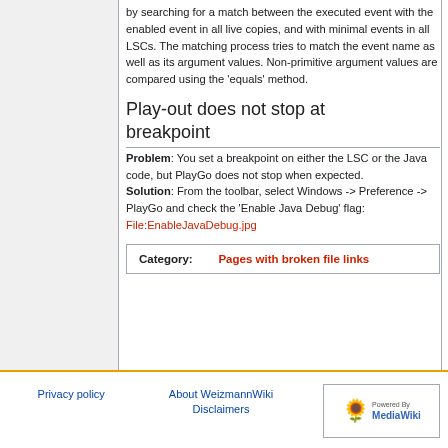by searching for a match between the executed event with the enabled event in all live copies, and with minimal events in all LSCs. The matching process tries to match the event name as well as its argument values. Non-primitive argument values are compared using the 'equals' method.
Play-out does not stop at breakpoint
Problem: You set a breakpoint on either the LSC or the Java code, but PlayGo does not stop when expected.
Solution: From the toolbar, select Windows -> Preference -> PlayGo and check the 'Enable Java Debug' flag:
File:EnableJavaDebug.jpg
Category:  Pages with broken file links
Privacy policy   About WeizmannWiki   Disclaimers   Powered by MediaWiki